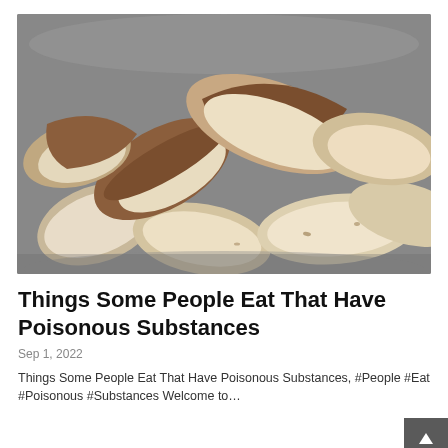[Figure (photo): Close-up photo of Brazil nuts in a metal bowl, showing shelled and partially shelled nuts with brown skins, on a gray background.]
Things Some People Eat That Have Poisonous Substances
Sep 1, 2022
Things Some People Eat That Have Poisonous Substances, #People #Eat #Poisonous #Substances Welcome to…